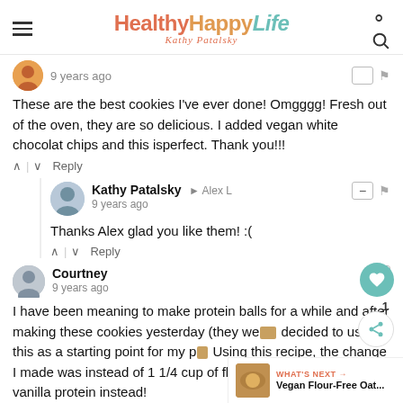HealthyHappyLife – Kathy Patalsky
9 years ago
These are the best cookies I've ever done! Omgggg! Fresh out of the oven, they are so delicious. I added vegan white chocolat chips and this isperfect. Thank you!!!
Kathy Patalsky → Alex L
9 years ago
Thanks Alex glad you like them! :(
Courtney
9 years ago
I have been meaning to make protein balls for a while and after making these cookies yesterday (they we… decided to use this as a starting point for my p… Using this recipe, the change I made was instead of 1 1/4 cup of flour, i used 1 1/4 cup of vanilla protein instead!